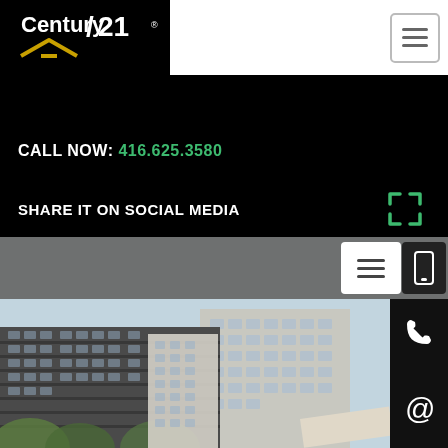[Figure (logo): Century 21 logo — white text on black background with gold roofline graphic]
CALL NOW: 416.625.3580
SHARE IT ON SOCIAL MEDIA
[Figure (photo): Modern multi-storey residential condominium building with balconies and glass facade, surrounded by trees]